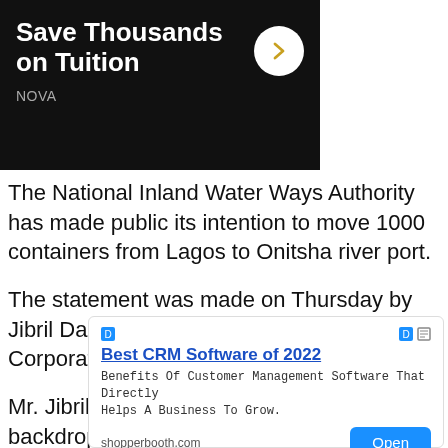[Figure (screenshot): Top advertisement banner with dark background showing 'Save Thousands on Tuition' with NOVA branding and a white circle arrow button]
The National Inland Water Ways Authority has made public its intention to move 1000 containers from Lagos to Onitsha river port.
The statement was made on Thursday by Jibril Dardau the NIWA general manager of Corporate Affairs.
Mr. Jibril Dardau was speaking of the backdrop of an earlier statement made by the executive director
[Figure (screenshot): Bottom advertisement for Best CRM Software of 2022 from shopperbooth.com with Open button]